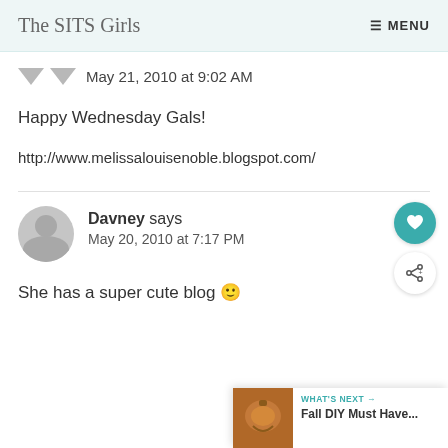The SITS Girls | MENU
May 21, 2010 at 9:02 AM
Happy Wednesday Gals!
http://www.melissalouisenoble.blogspot.com/
Davney says
May 20, 2010 at 7:17 PM
She has a super cute blog 🙂
WHAT'S NEXT → Fall DIY Must Have...